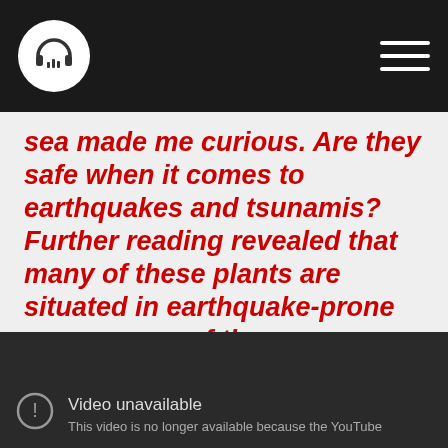[Logo: headphones icon] [Hamburger menu]
sea made me curious. Are they safe when it comes to earthquakes and tsunamis? Further reading revealed that many of these plants are situated in earthquake-prone areas, some of them are even located next to shores that had been hit in the past by tsunamis."  "
[Figure (screenshot): Dark video player showing 'Video unavailable' message with a warning icon and text: 'This video is no longer available because the YouTube']